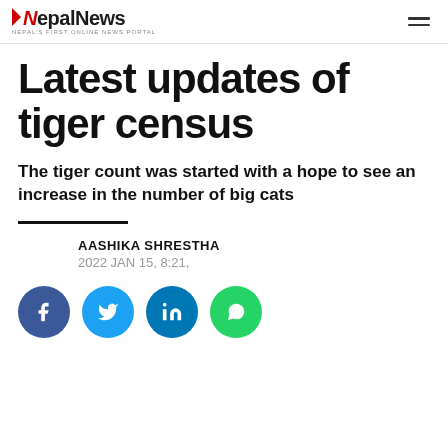NepalNews — Nepal's first online news portal
Latest updates of tiger census
The tiger count was started with a hope to see an increase in the number of big cats
AASHIKA SHRESTHA
2022 JAN 15, 8:21,
[Figure (infographic): Social sharing buttons: Facebook, Twitter, LinkedIn, WhatsApp]